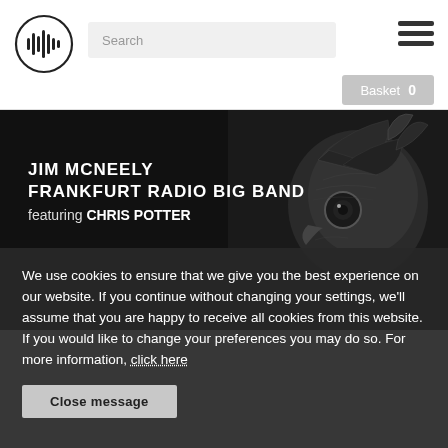[Figure (logo): Circular audio waveform logo icon in black and white]
Search
[Figure (illustration): Hamburger menu icon (three horizontal bars)]
Basket  0
[Figure (photo): Dark album cover image with a decorated bird (peacock/quail) on the right. Text overlay reads: JIM MCNEELY / FRANKFURT RADIO BIG BAND / featuring CHRIS POTTER]
We use cookies to ensure that we give you the best experience on our website. If you continue without changing your settings, we'll assume that you are happy to receive all cookies from this website. If you would like to change your preferences you may do so. For more information, click here
Close message